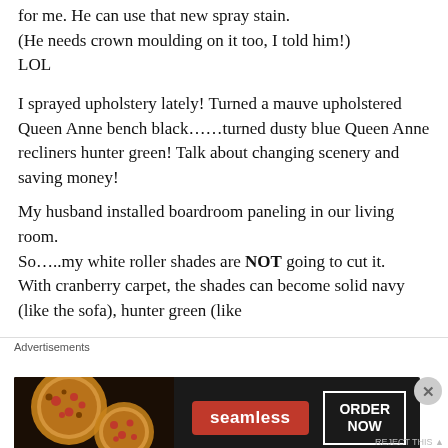for me. He can use that new spray stain. (He needs crown moulding on it too, I told him!) LOL
I sprayed upholstery lately! Turned a mauve upholstered Queen Anne bench black……turned dusty blue Queen Anne recliners hunter green! Talk about changing scenery and saving money!
My husband installed boardroom paneling in our living room.
So…..my white roller shades are NOT going to cut it.
With cranberry carpet, the shades can become solid navy (like the sofa), hunter green (like
Advertisements
[Figure (other): Seamless food delivery advertisement banner with pizza image on left, red Seamless badge in center, and ORDER NOW button on right, on dark background.]